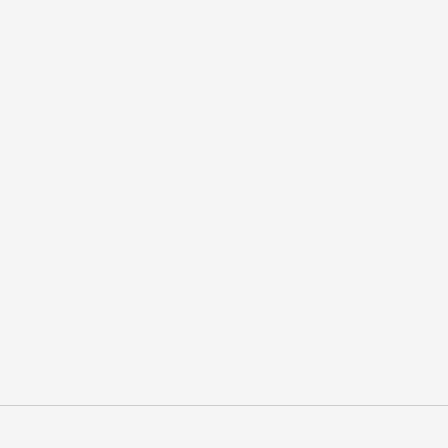[Figure (photo): Partial view of a person, cropped at top right of page, grayscale tones]
Taking a playbook... fired. S interrupting and s grievan intentio Author discrimina wrongful te a slew of lawsuit, he him ow
[Figure (photo): Partial image at bottom right, beige/tan toned]